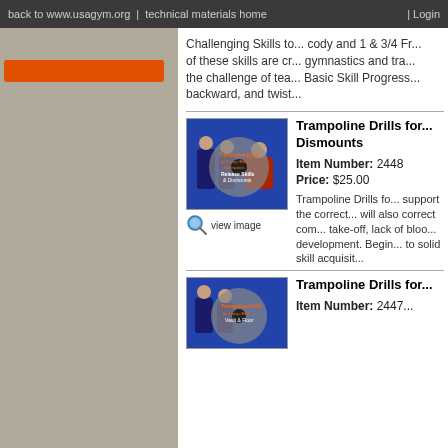back to www.usagym.org  |  technical materials home  | Login
Challenging Skills to... cody and 1 & 3/4 Fr... of these skills are cr... gymnastics and tra... the challenge of tea... Basic Skill Progress... backward, and twist...
[Figure (photo): DVD cover image for Trampoline Drills for Release Skills & Dismounts, showing gymnasts and coach]
view image
Trampoline Drills for... Dismounts
Item Number: 2448
Price: $25.00
Trampoline Drills fo... support the correct... will also correct com... take-off, lack of bloo... development. Begin... to solid skill acquisit...
[Figure (photo): DVD cover image for second Trampoline Drills product]
Trampoline Drills for...
Item Number: 2447...